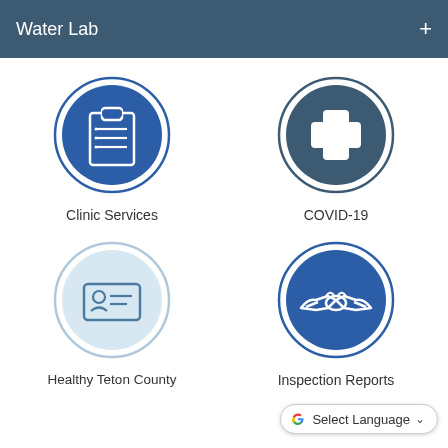Water Lab +
[Figure (illustration): Circular icon with clipboard and checklist on blue background, labeled Clinic Services]
Clinic Services
[Figure (illustration): Circular icon with medical cross on dark blue-gray background, labeled COVID-19]
COVID-19
[Figure (illustration): Circular icon with ID card on light blue background, labeled Healthy Teton County]
Healthy Teton County
[Figure (illustration): Circular icon with handshake on blue background, labeled Inspection Reports]
Inspection Reports
Select Language